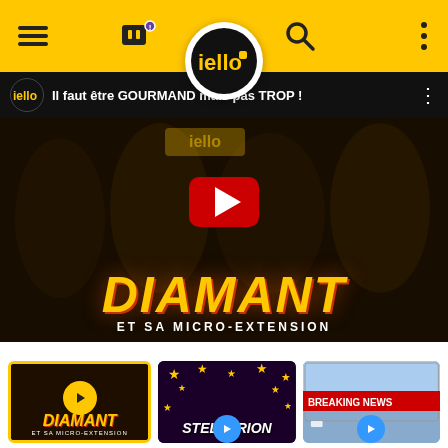[Figure (screenshot): Mobile app navigation bar with yellow background, hamburger menu icon, Twitch icon with notification badge, iello logo circle in center, search icon, and vertical dots menu icon]
[Figure (screenshot): YouTube video player showing 'Il faut être GOURMAND mais pas TROP!' video from iello channel, featuring DIAMANT ET SA MICRO-EXTENSION game, with group of people in background, YouTube play button in center, and video title in header]
[Figure (screenshot): Three video thumbnails in a row: first thumbnail selected (yellow border) showing DIAMANT game with play button overlay, second showing STELLARION game with a woman making peace signs surrounded by gold stars, third showing BREAKING NEWS style thumbnail with play button]